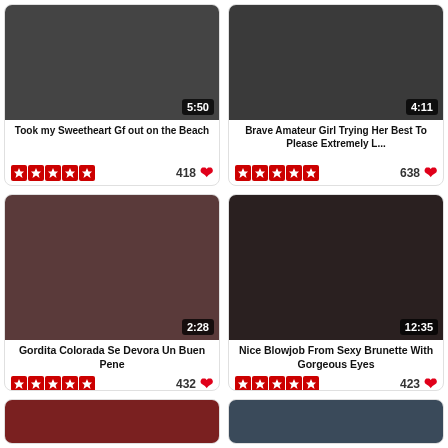[Figure (screenshot): Video thumbnail for 'Took my Sweetheart Gf out on the Beach', duration 5:50]
Took my Sweetheart Gf out on the Beach
[Figure (screenshot): Video thumbnail, duration 4:11]
Brave Amateur Girl Trying Her Best To Please Extremely L...
[Figure (screenshot): Video thumbnail for 'Gordita Colorada Se Devora Un Buen Pene', duration 2:28]
Gordita Colorada Se Devora Un Buen Pene
[Figure (screenshot): Video thumbnail for 'Nice Blowjob From Sexy Brunette With Gorgeous Eyes', duration 12:35]
Nice Blowjob From Sexy Brunette With Gorgeous Eyes
[Figure (screenshot): Partial video thumbnail, bottom row left]
[Figure (screenshot): Partial video thumbnail, bottom row right]